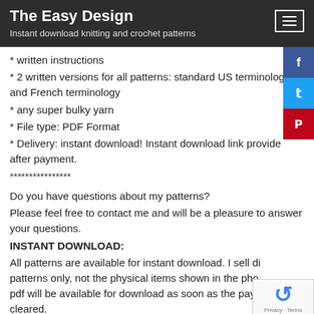The Easy Design
Instant download knitting and crochet patterns
* written instructions
* 2 written versions for all patterns: standard US terminology and French terminology
* any super bulky yarn
* File type: PDF Format
* Delivery: instant download! Instant download link provided after payment.
****************
Do you have questions about my patterns?
Please feel free to contact me and will be a pleasure to answer your questions.
INSTANT DOWNLOAD:
All patterns are available for instant download. I sell digital patterns only, not the physical items shown in the photos. The pdf will be available for download as soon as the payment is cleared.